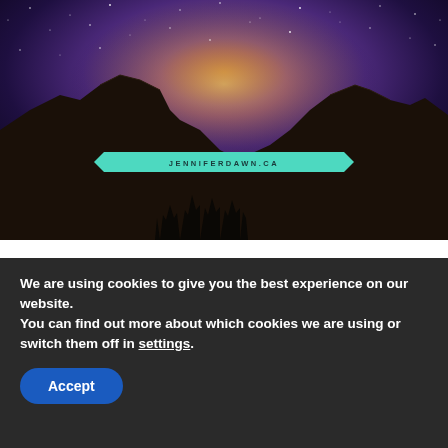[Figure (photo): Hero image of a night sky with Milky Way over dark mountain silhouettes, with a teal ribbon banner overlay showing the URL JENNIFERDAWN.CA]
If you have just started your spiritual journey or awakening, you will be hearing a lot about raising your
We are using cookies to give you the best experience on our website.
You can find out more about which cookies we are using or switch them off in settings.
Accept